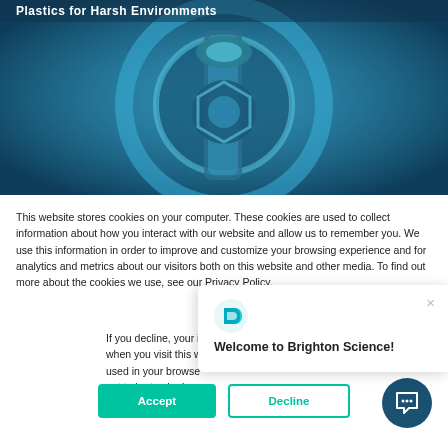[Figure (photo): Hero image showing industrial mechanical component (blue-tinted closeup of a bolt/fastener/nozzle with circular metal parts) with partial title text visible at top: 'Plastics for Harsh Environments']
This website stores cookies on your computer. These cookies are used to collect information about how you interact with our website and allow us to remember you. We use this information in order to improve and customize your browsing experience and for analytics and metrics about our visitors both on this website and other media. To find out more about the cookies we use, see our Privacy Policy.
If you decline, your information won't be tracked when you visit this website. A single cookie will be used in your browser to remember your preference not to be tracked.
[Figure (screenshot): Welcome to Brighton Science! popup with Brighton Science logo (teal D-shape) and close (X) button]
Welcome to Brighton Science!